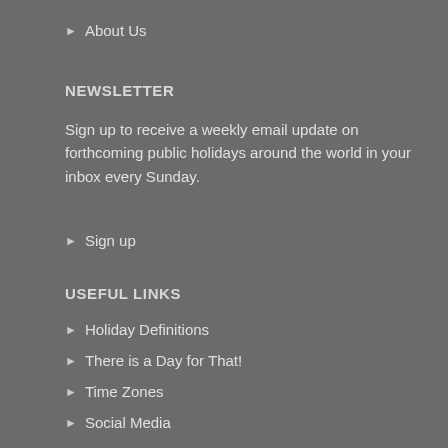About Us
NEWSLETTER
Sign up to receive a weekly email update on forthcoming public holidays around the world in your inbox every Sunday.
Sign up
USEFUL LINKS
Holiday Definitions
There is a Day for That!
Time Zones
Social Media
USING THE SITE
Contact Us